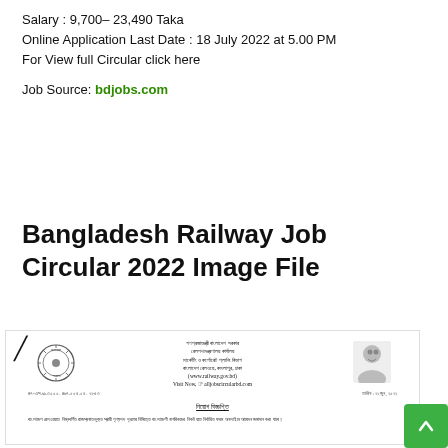Salary : 9,700– 23,490 Taka
Online Application Last Date : 18 July 2022 at 5.00 PM
For View full Circular click here
Job Source: bdjobs.com
Bangladesh Railway Job Circular 2022 Image File
[Figure (photo): Scanned image of Bangladesh Railway Job Circular 2022 official document in Bengali, showing government letterhead with seal, official portrait, reference number, date (22 June 2022), and Bengali text for a job circular announcement.]